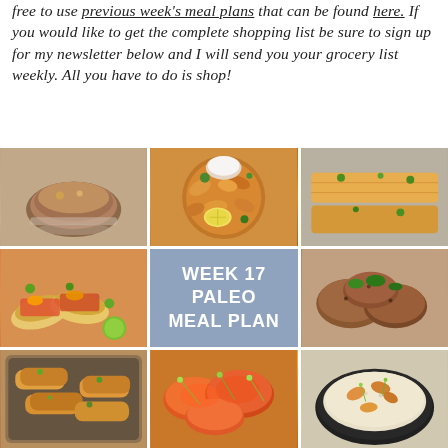free to use previous week's meal plans that can be found here.  If you would like to get the complete shopping list be sure to sign up for my newsletter below and I will send you your grocery list weekly. All you have to do is shop!
[Figure (photo): 3x3 grid of food photos with center cell showing 'WEEK 17 PALEO MEAL PLAN' text on blue-gray background. Photos show: grilled meat burger, fried shrimp with lemon, baked salmon/fish, tacos with vegetables, seasoned chicken/pork, grilled chicken strips, buffalo chicken, shrimp fried cauliflower rice.]